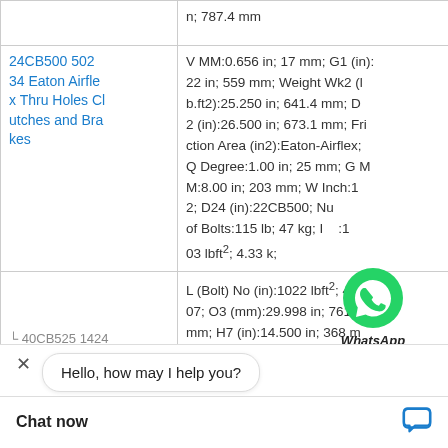| Product | Specifications |
| --- | --- |
|  | n; 787.4 mm |
| 24CB500 50234 Eaton Airflex Thru Holes Clutches and Brakes | V MM:0.656 in; 17 mm; G1 (in):22 in; 559 mm; Weight Wk2 (lb.ft2):25.250 in; 641.4 mm; D2 (in):26.500 in; 673.1 mm; Friction Area (in2):Eaton-Airflex; Q Degree:1.00 in; 25 mm; G MM:8.00 in; 203 mm; W Inch:12; D24 (in):22CB500; Number of Bolts:115 lb; 47 kg; I:103 lbft²; 4.33 k; |
| 40CB525 1424 ... Brakes | L (Bolt) No (in):1022 lbft²; 45.07; O3 (mm):29.998 in; 761.9 mm; H7 (in):14.500 in; 368 mm; Cs Centrifugal Loss Consta ar/rpm2):30.62 in; 778 m (mm):24.375 in; 619.1 m m; Lining Thickness Worn (m ; 1/2-14 mm; H2 (i ed; D25 (in):17.38 i W No (mm):324WC |
[Figure (logo): WhatsApp green circle icon with phone handset]
WhatsApp Online
Hello, how may I help you?
Chat now